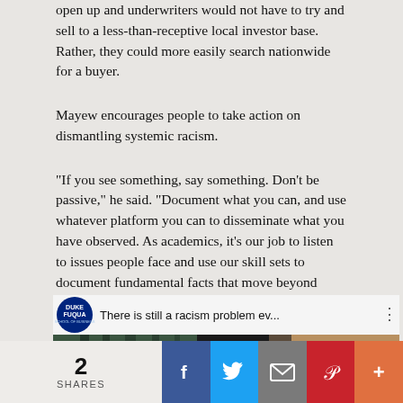open up and underwriters would not have to try and sell to a less-than-receptive local investor base. Rather, they could more easily search nationwide for a buyer.
Mayew encourages people to take action on dismantling systemic racism.
“If you see something, say something. Don’t be passive,” he said. “Document what you can, and use whatever platform you can to disseminate what you have observed. As academics, it’s our job to listen to issues people face and use our skill sets to document fundamental facts that move beyond anecdotes in order to make society better.”
[Figure (screenshot): YouTube video thumbnail with Duke Fuqua School of Business logo, title 'There is still a racism problem ev...' and a man's face visible in the thumbnail with a red play button area at bottom]
2 SHARES | Facebook | Twitter | Email | Pinterest | More